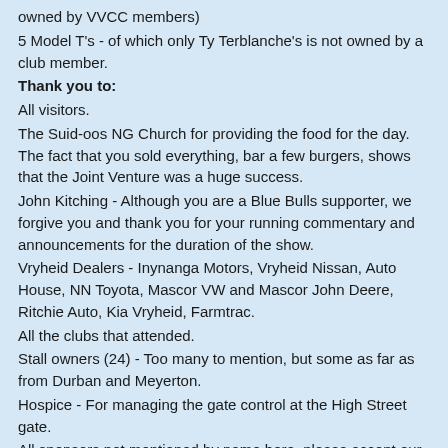owned by VVCC members)
5 Model T's - of which only Ty Terblanche's is not owned by a club member.
Thank you to:
All visitors.
The Suid-oos NG Church for providing the food for the day. The fact that you sold everything, bar a few burgers, shows that the Joint Venture was a huge success.
John Kitching - Although you are a Blue Bulls supporter, we forgive you and thank you for your running commentary and announcements for the duration of the show.
Vryheid Dealers - Inynanga Motors, Vryheid Nissan, Auto House, NN Toyota, Mascor VW and Mascor John Deere, Ritchie Auto, Kia Vryheid, Farmtrac.
All the clubs that attended.
Stall owners (24) - Too many to mention, but some as far as from Durban and Meyerton.
Hospice - For managing the gate control at the High Street gate.
All sponsors not mentioned by name here, please accept our heartfelt thanks for your continued support.   We will endeavour to thank you each individually.